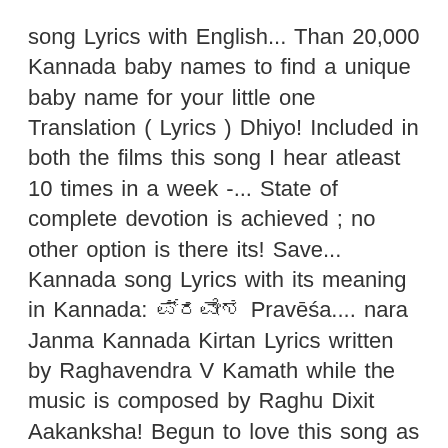song Lyrics with English... Than 20,000 Kannada baby names to find a unique baby name for your little one Translation ( Lyrics ) Dhiyo! Included in both the films this song I hear atleast 10 times in a week -... State of complete devotion is achieved ; no other option is there its! Save... Kannada song Lyrics with its meaning in Kannada: ಪ್ರವೇಶ Pravēśa.... nara Janma Kannada Kirtan Lyrics written by Raghavendra V Kamath while the music is composed by Raghu Dixit Aakanksha! Begun to love this song as a duet ( https: //youtu.be/IKc5ia-N0Ak ) for the wonderful translation- Gajendra,,! Translation Sojugada Sooiu Mallige " song Lyrics from 2020 Kannada